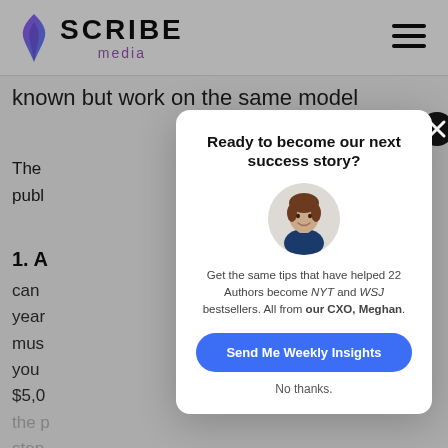SCRIBE media
known but work on the same model
The
publ
1. A
can
year
must
you
$5,0
the p
step
Ready to become our next success story?
[Figure (photo): Circular portrait photo of a woman with brown hair, smiling, wearing a dark blue top]
Get the same tips that have helped 22 Authors become NYT and WSJ bestsellers. All from our CXO, Meghan.
Send Me Weekly Insights
No thanks.